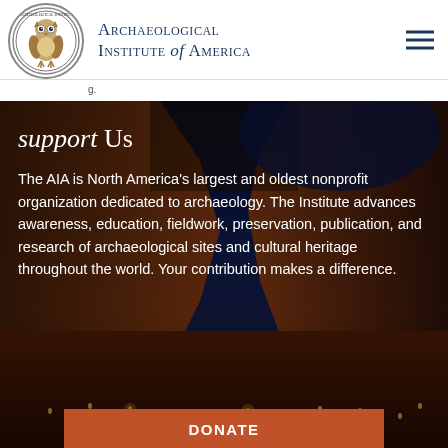Archaeological Institute of America
g.
[Figure (photo): Background photo of ancient rock-cut architecture (Petra-like) at night with candles on the ground and a deep blue sky]
support Us
The AIA is North America's largest and oldest nonprofit organization dedicated to archaeology. The Institute advances awareness, education, fieldwork, preservation, publication, and research of archaeological sites and cultural heritage throughout the world. Your contribution makes a difference.
DONATE